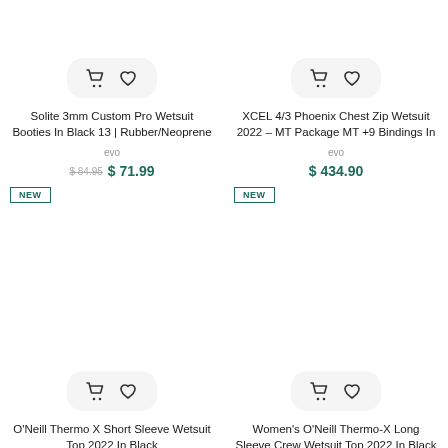[Figure (other): Product card with cart and wishlist icons for Solite 3mm Custom Pro Wetsuit Booties]
Solite 3mm Custom Pro Wetsuit Booties In Black 13 | Rubber/Neoprene
evo
$ 84.95 $ 71.99
NEW
[Figure (other): Product card with cart and wishlist icons for XCEL 4/3 Phoenix Chest Zip Wetsuit]
XCEL 4/3 Phoenix Chest Zip Wetsuit 2022 – MT Package MT +9 Bindings In
evo
$ 434.90
NEW
[Figure (other): Product card with cart and wishlist icons for O'Neill Thermo X Short Sleeve Wetsuit Top]
O'Neill Thermo X Short Sleeve Wetsuit Top 2022 In Black
[Figure (other): Product card with cart and wishlist icons for Women's O'Neill Thermo-X Long Sleeve Crew Wetsuit Top]
Women's O'Neill Thermo-X Long Sleeve Crew Wetsuit Top 2022 In Black |